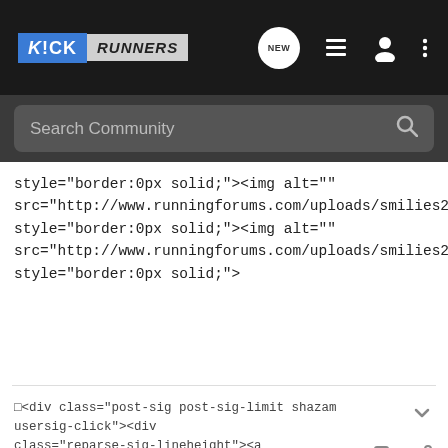[Figure (screenshot): Kick Runners community forum website navigation bar with logo, search field, and nav icons]
style="border:0px solid;"><img alt="" src="http://www.runningforums.com/uploads/smilies2/broc.gif" style="border:0px solid;"><img alt="" src="http://www.runningforums.com/uploads/smilies2/broc.gif" style="border:0px solid;">
□<div class="post-sig post-sig-limit shazam usersig-click"><div class="reparse-sig-lineheight"><a
dg1 · Registered
Joined Mar 9, 2007 · 11,468 Posts